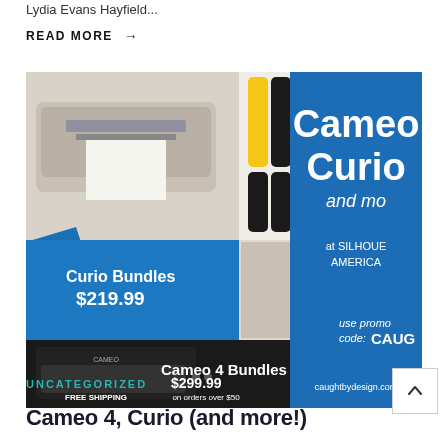Lydia Evans Hayfield...
READ MORE →
[Figure (photo): Silhouette America sale advertisement showing Cameo 4 Bundles at $299.99, Curio Bundles at $219.99, 30% off vinyl and heat transfer, free shipping on orders over $50, use promo code CAUGHT, at Silhouette America, caughtbydesign.com]
UNCATEGORIZED
Cameo 4, Curio (and more!)